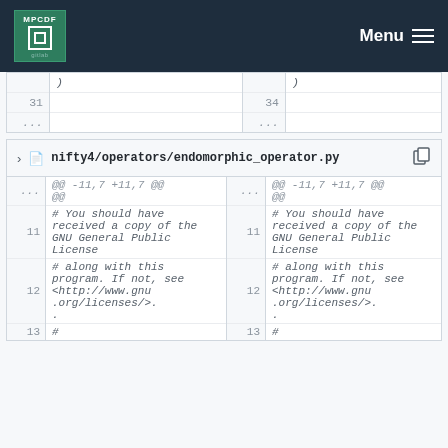MPCDF Menu
| line | code | line | code |
| --- | --- | --- | --- |
|  | ) |  | ) |
| 31 |  | 34 |  |
| ... |  | ... |  |
nifty4/operators/endomorphic_operator.py
| line | code | line | code |
| --- | --- | --- | --- |
| ... | @@ -11,7 +11,7 @@ | ... | @@ -11,7 +11,7 @@ |
| 11 | # You should have received a copy of the GNU General Public License | 11 | # You should have received a copy of the GNU General Public License |
| 12 | # along with this program. If not, see <http://www.gnu.org/licenses/>. | 12 | # along with this program. If not, see <http://www.gnu.org/licenses/>. |
| 13 | # | 13 | # |